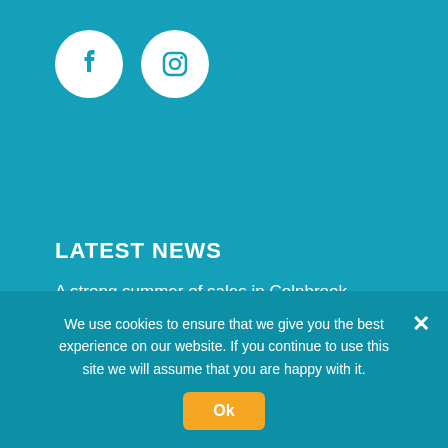[Figure (logo): Facebook icon in white circle on teal background]
[Figure (logo): Instagram icon in white circle on teal background]
LATEST NEWS
A strong summer of sales in Colnbrook
Can a Mortgage in Principle help to buy a new home?
Top reasons people decide to move to a new home
We use cookies to ensure that we give you the best experience on our website. If you continue to use this site we will assume that you are happy with it.